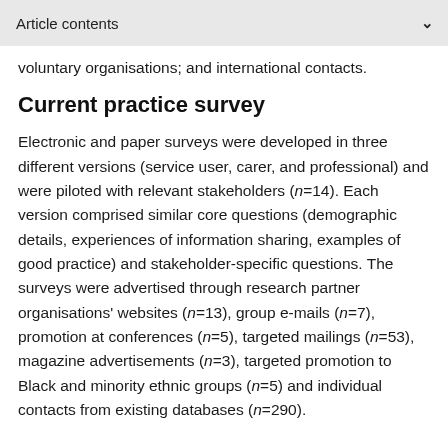Article contents
voluntary organisations; and international contacts.
Current practice survey
Electronic and paper surveys were developed in three different versions (service user, carer, and professional) and were piloted with relevant stakeholders (n=14). Each version comprised similar core questions (demographic details, experiences of information sharing, examples of good practice) and stakeholder-specific questions. The surveys were advertised through research partner organisations' websites (n=13), group e-mails (n=7), promotion at conferences (n=5), targeted mailings (n=53), magazine advertisements (n=3), targeted promotion to Black and minority ethnic groups (n=5) and individual contacts from existing databases (n=290).